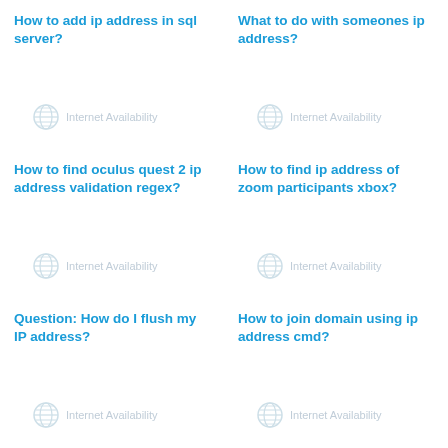How to add ip address in sql server?
[Figure (logo): Internet Availability watermark logo with globe icon]
What to do with someones ip address?
[Figure (logo): Internet Availability watermark logo with globe icon]
How to find oculus quest 2 ip address validation regex?
[Figure (logo): Internet Availability watermark logo with globe icon]
How to find ip address of zoom participants xbox?
[Figure (logo): Internet Availability watermark logo with globe icon]
Question: How do I flush my IP address?
[Figure (logo): Internet Availability watermark logo with globe icon]
How to join domain using ip address cmd?
[Figure (logo): Internet Availability watermark logo with globe icon]